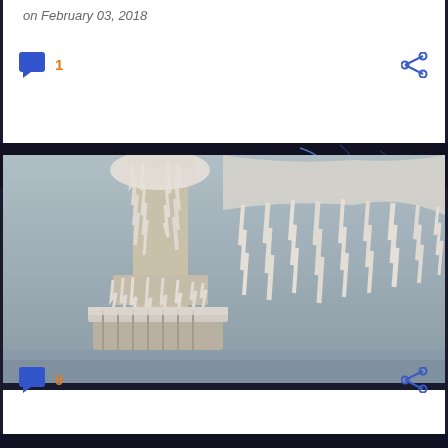on February 03, 2018
[Figure (screenshot): Comment icon with count 1 and share icon]
[Figure (photo): A lighthouse heavily encrusted with ice, hanging icicles and frozen structures visible against a grey winter sky]
Tragedies and Legends: Lighthouse Keepers
on February 02, 2018
[Figure (screenshot): Comment icon with count 0 and share icon]